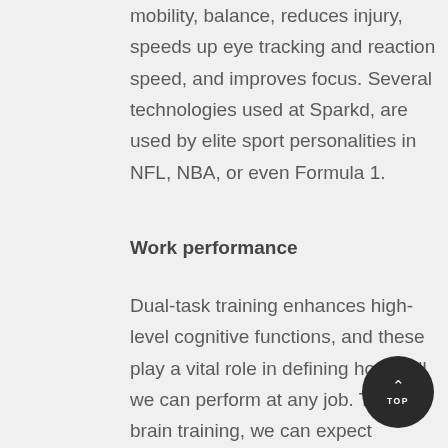mobility, balance, reduces injury, speeds up eye tracking and reaction speed, and improves focus. Several technologies used at Sparkd, are used by elite sport personalities in NFL, NBA, or even Formula 1.
Work performance
Dual-task training enhances high-level cognitive functions, and these play a vital role in defining how well we can perform at any job. Through brain training, we can expect increased productivity, noticeable